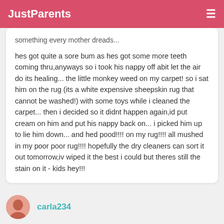JustParents
something every mother dreads...
hes got quite a sore bum as hes got some more teeth coming thru,anyways so i took his nappy off abit let the air do its healing... the little monkey weed on my carpet! so i sat him on the rug (its a white expensive sheepskin rug that cannot be washed!) with some toys while i cleaned the carpet... then i decided so it didnt happen again,id put cream on him and put his nappy back on... i picked him up to lie him down... and hed pood!!!! on my rug!!!! all mushed in my poor poor rug!!!! hopefully the dry cleaners can sort it out tomorrow,iv wiped it the best i could but theres still the stain on it - kids hey!!!
carla234